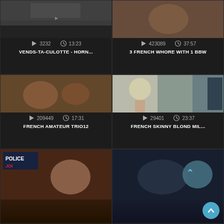[Figure (screenshot): Video grid thumbnail 1 top-left: dark blurry scene]
3232   13:23
VENDS-TA-CULOTTE - HORN...
[Figure (screenshot): Video grid thumbnail 2 top-right: person scene]
423089   37:57
3 FRENCH WHORE WITH 1 BBW
[Figure (screenshot): Video grid thumbnail 3 middle-left: group scene]
209449   17:31
FRENCH AMATEUR TRIO12
[Figure (screenshot): Video grid thumbnail 4 middle-right: blonde woman at door]
29401   23:37
FRENCH SKINNY BLOND MIL...
[Figure (screenshot): Video grid thumbnail 5 bottom-left: police JOI scene]
[Figure (screenshot): Video grid thumbnail 6 bottom-right: dark scene]